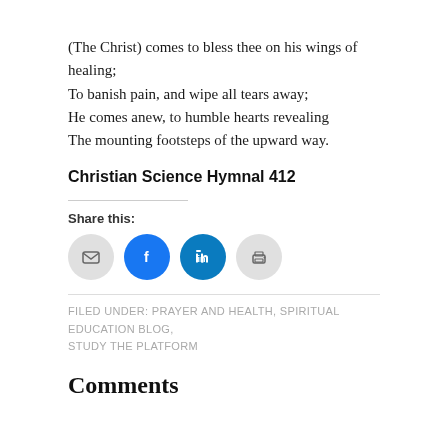(The Christ) comes to bless thee on his wings of healing;
To banish pain, and wipe all tears away;
He comes anew, to humble hearts revealing
The mounting footsteps of the upward way.
Christian Science Hymnal 412
Share this:
[Figure (infographic): Four social sharing icon buttons: email (gray circle), Facebook (blue circle with f), LinkedIn (teal circle with in), print (gray circle with printer icon)]
FILED UNDER: PRAYER AND HEALTH, SPIRITUAL EDUCATION BLOG, STUDY THE PLATFORM
Comments